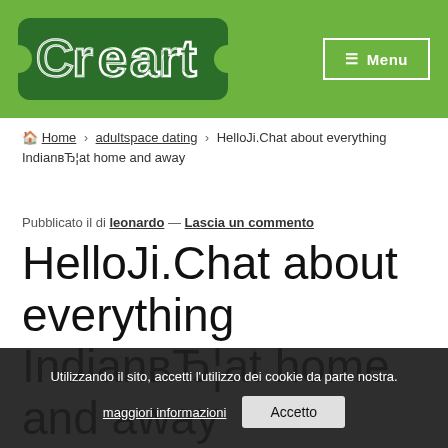[Figure (logo): CreArt logo — green ticket-shaped background with white outlined letters spelling 'CreArt']
≡ Menu
Home › adultspace dating › HelloJi.Chat about everything IndianвЂ¦at home and away
Pubblicato il di leonardo — Lascia un commento
HelloJi.Chat about everything IndianвЂ¦at home and away
Utilizzando il sito, accetti l'utilizzo dei cookie da parte nostra. maggiori informazioni  Accetto